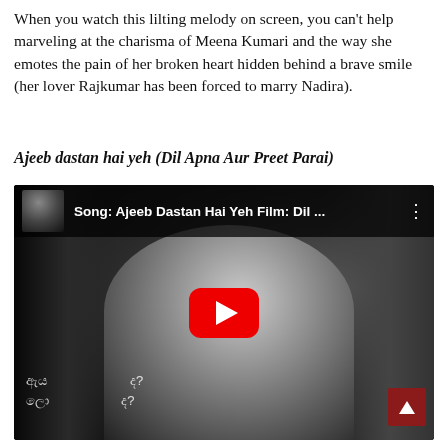When you watch this lilting melody on screen, you can't help marveling at the charisma of Meena Kumari and the way she emotes the pain of her broken heart hidden behind a brave smile (her lover Rajkumar has been forced to marry Nadira).
Ajeeb dastan hai yeh (Dil Apna Aur Preet Parai)
[Figure (screenshot): YouTube video embed showing black and white film still of a woman (Meena Kumari) from 'Dil Apna Aur Preet Parai'. The video title bar reads 'Song: Ajeeb Dastan Hai Yeh Film: Dil ...' with a thumbnail. A red YouTube play button is centered on the video. Sinhala subtitle text appears at the bottom of the video. A dark red scroll-to-top button is in the bottom right corner.]